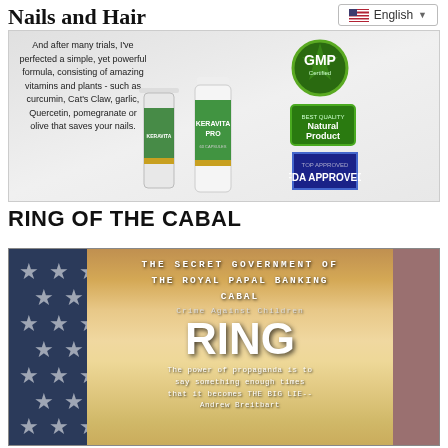Nails and Hair
[Figure (photo): Screenshot of a webpage showing supplement product 'Keravita Pro' bottles with GMP Certified, Natural Product, and FDA Approved badges, alongside text about vitamins and plants. A language selector showing 'English' is in the top right.]
RING OF THE CABAL
[Figure (photo): Image with American flag stars background on the left, and center text reading: THE SECRET GOVERNMENT OF THE ROYAL PAPAL BANKING CABAL, Crime Against Children, RING, The power of propaganda is to say something enough times that it becomes THE BIG LIE-- Andrew Breitbart]